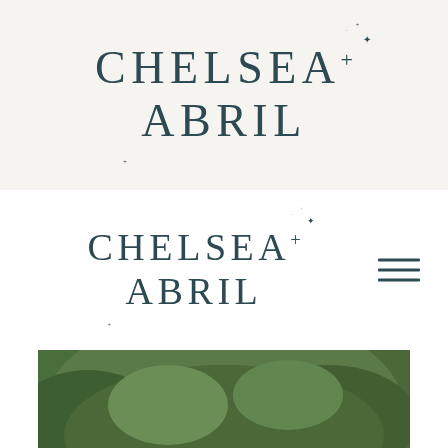[Figure (logo): Chelsea Abril photography logo in dark teal serif font with decorative sparkle/star symbols, on light cream background]
[Figure (logo): Chelsea Abril photography logo in dark teal serif font with decorative sparkle/star symbols, on white background, with hamburger menu icon on the right]
[Figure (photo): Outdoor wedding photo of couple near a lake with lush green mountain backdrop. Groom wearing a floral lei kisses bride on the cheek while she looks toward the camera. Bride wears white dress with veil.]